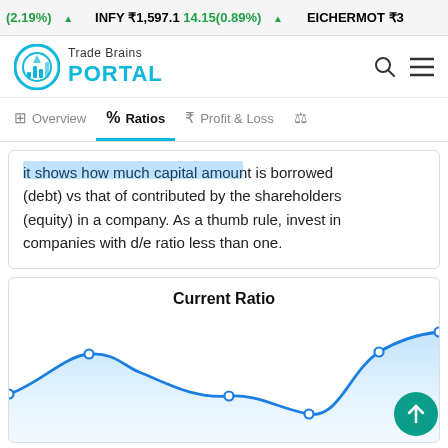(2.19%) ▲  INFY ₹1,597.1  14.15(0.89%) ▲  EICHERMOT ₹3...
[Figure (logo): Trade Brains Portal logo with teal circular icon and navigation icons (search, menu)]
Overview | % Ratios | ₹ Profit & Loss | ⚖
it shows how much capital amount is borrowed (debt) vs that of contributed by the shareholders (equity) in a company. As a thumb rule, invest in companies with d/e ratio less than one.
[Figure (area-chart): Area chart showing Current Ratio over time. The line starts at a moderate level, rises to a local peak, dips to a trough (lowest point around mid-chart), then rises steeply to the highest point on the right side. Data points are marked with small circles. The area under the line is shaded light blue.]